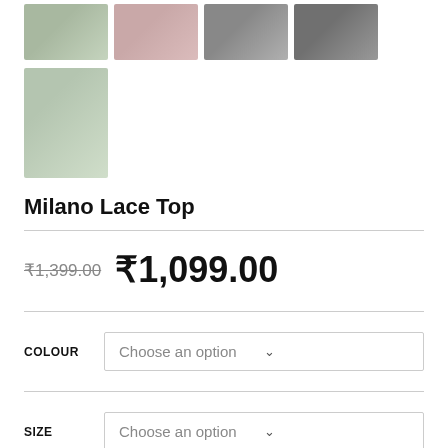[Figure (photo): Row of four thumbnail product images of a lace top in green, pink, dark, and dark gray colors]
[Figure (photo): Single larger thumbnail product image of the Milano Lace Top in green, showing skirt/top detail]
Milano Lace Top
₹1,399.00 ₹1,099.00
COLOUR  Choose an option
SIZE  Choose an option